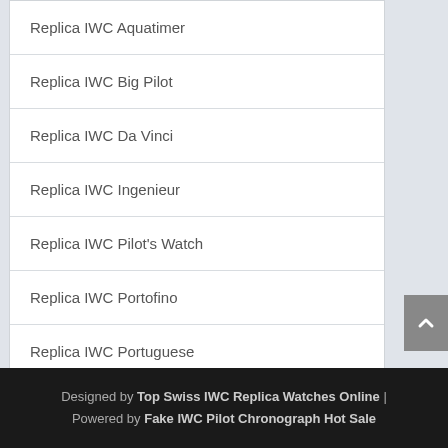Replica IWC Aquatimer
Replica IWC Big Pilot
Replica IWC Da Vinci
Replica IWC Ingenieur
Replica IWC Pilot's Watch
Replica IWC Portofino
Replica IWC Portuguese
Designed by Top Swiss IWC Replica Watches Online | Powered by Fake IWC Pilot Chronograph Hot Sale